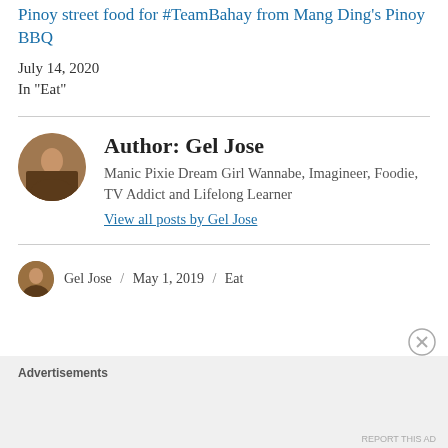Pinoy street food for #TeamBahay from Mang Ding's Pinoy BBQ
July 14, 2020
In "Eat"
Author: Gel Jose
Manic Pixie Dream Girl Wannabe, Imagineer, Foodie, TV Addict and Lifelong Learner
View all posts by Gel Jose
Gel Jose / May 1, 2019 / Eat
Advertisements